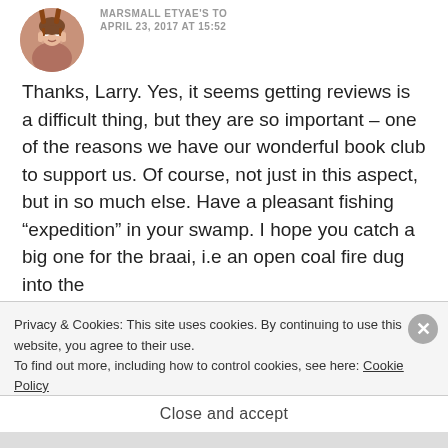APRIL 23, 2017 AT 15:52
Thanks, Larry. Yes, it seems getting reviews is a difficult thing, but they are so important – one of the reasons we have our wonderful book club to support us. Of course, not just in this aspect, but in so much else. Have a pleasant fishing “expedition” in your swamp. I hope you catch a big one for the braai, i.e an open coal fire dug into the
Privacy & Cookies: This site uses cookies. By continuing to use this website, you agree to their use.
To find out more, including how to control cookies, see here: Cookie Policy
Close and accept